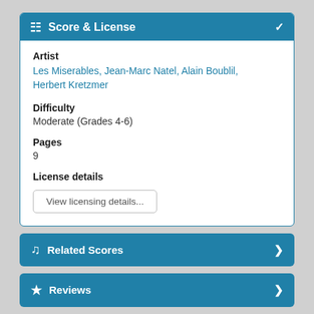Score & License
Artist
Les Miserables, Jean-Marc Natel, Alain Boublil, Herbert Kretzmer
Difficulty
Moderate (Grades 4-6)
Pages
9
License details
View licensing details...
Related Scores
Reviews